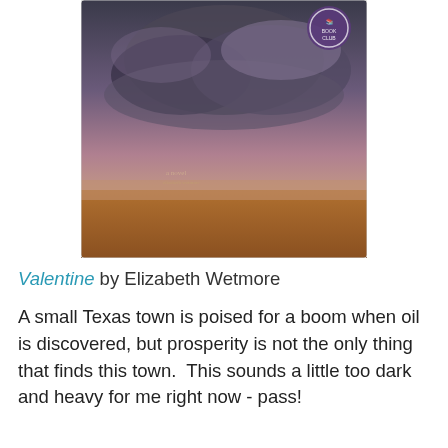[Figure (photo): Book cover of 'Valentine' by Elizabeth Wetmore — stormy dark sky over flat Texas plains with an orange/brown landscape below and a small book club badge in the upper right corner]
Valentine by Elizabeth Wetmore
A small Texas town is poised for a boom when oil is discovered, but prosperity is not the only thing that finds this town.  This sounds a little too dark and heavy for me right now - pass!
[Figure (photo): Book cover of 'Have You Seen Me?' by Kate White — teal/blue textured background with large white lowercase text 'have you seen me?' and author name 'Kate White' at the bottom; 'NEW YORK TIMES BESTSELLING AUTHOR' at the top]